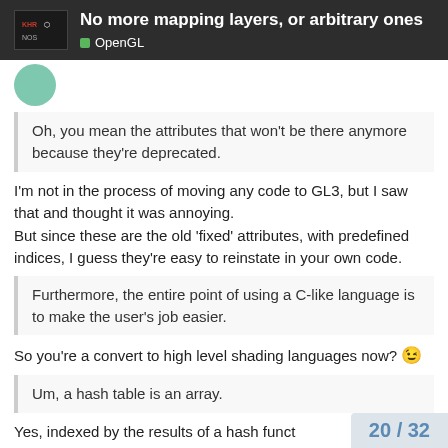No more mapping layers, or arbitrary ones
OpenGL
Oh, you mean the attributes that won't be there anymore because they're deprecated.
I'm not in the process of moving any code to GL3, but I saw that and thought it was annoying.
But since these are the old 'fixed' attributes, with predefined indices, I guess they're easy to reinstate in your own code.
Furthermore, the entire point of using a C-like language is to make the user's job easier.
So you're a convert to high level shading languages now? 😉
Um, a hash table is an array.
Yes, indexed by the results of a hash funct
20 / 32